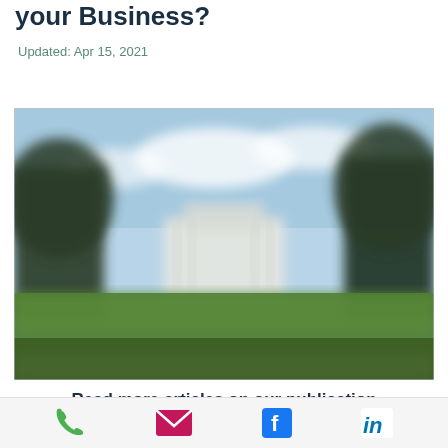your Business?
Updated: Apr 15, 2021
[Figure (photo): Blurred outdoor photo showing a white building (White House) surrounded by green trees and lawn under a blue sky with clouds]
Read more articles on our publication